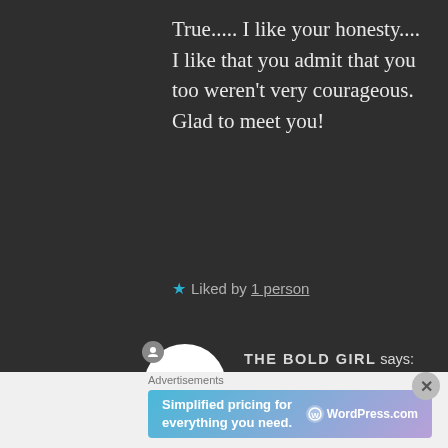True..... I like your honesty.... I like that you admit that you too weren't very courageous. Glad to meet you!
★ Liked by 1 person
THE BOLD GIRL says: Jul 13, 2020 at 9:41 PM
It's not about not being courageous but, about how much can a human take at any
Advertisements
[Figure (other): WordPress.com advertisement banner: Simplified pricing for everything you need.]